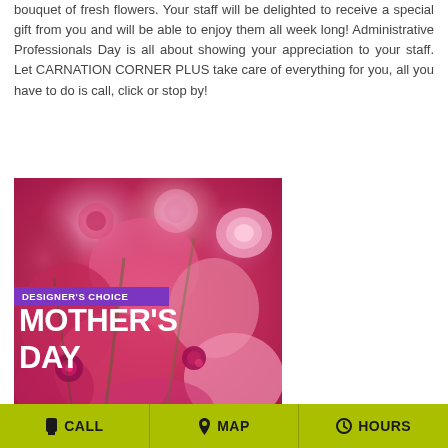bouquet of fresh flowers. Your staff will be delighted to receive a special gift from you and will be able to enjoy them all week long! Administrative Professionals Day is all about showing your appreciation to your staff. Let CARNATION CORNER PLUS take care of everything for you, all you have to do is call, click or stop by!
[Figure (photo): Close-up photo of a pink and magenta floral bouquet featuring peonies, carnations, roses and other flowers. Overlaid text reads 'DESIGNER'S CHOICE' in a purple banner, with large white bold text 'MOTHER'S DAY' below it.]
CALL   MAP   HOURS